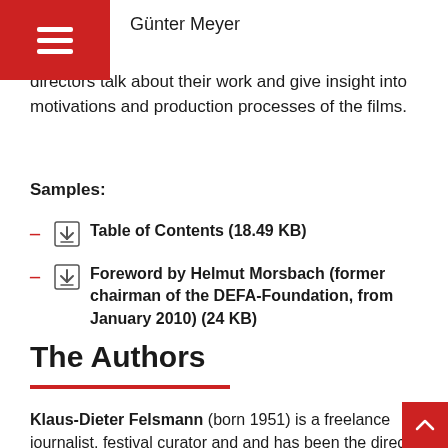Günter Meyer
directors talk about their work and give insight into motivations and production processes of the films.
Samples:
Table of Contents (18.49 KB)
Foreword by Helmut Morsbach (former chairman of the DEFA-Foundation, from January 2010) (24 KB)
The Authors
Klaus-Dieter Felsmann (born 1951) is a freelance journalist, festival curator and and has been the director of the